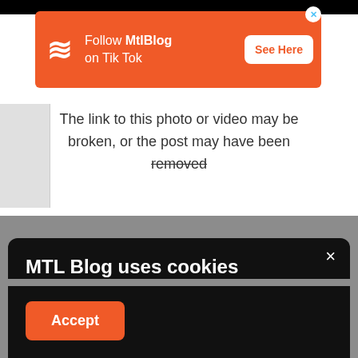[Figure (screenshot): Orange advertisement banner for MtlBlog TikTok with logo, text 'Follow MtlBlog on Tik Tok', and 'See Here' button]
The link to this photo or video may be broken, or the post may have been removed.
MTL Blog uses cookies
We use cookies to personalize content and ads, to provide social media features and to analyze our traffic. Learn more about how we use your data in our cookie policy. By clicking Accept, you allow us to use cookies to give you the best experience on site.
Accept